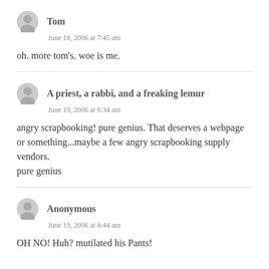Tom
June 18, 2006 at 7:45 am
oh. more tom's. woe is me.
A priest, a rabbi, and a freaking lemur
June 19, 2006 at 6:34 am
angry scrapbooking! pure genius. That deserves a webpage or something...maybe a few angry scrapbooking supply vendors.
pure genius
Anonymous
June 19, 2006 at 8:44 am
OH NO! Huh? mutilated his Pants!